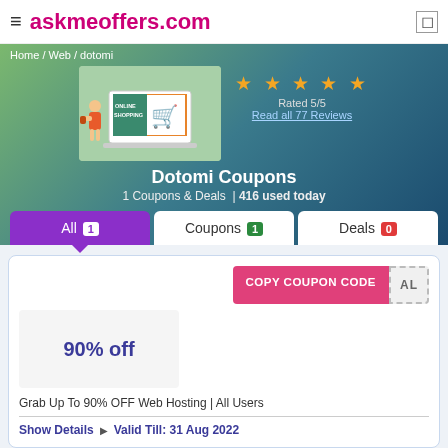askmeoffers.com
Home / Web / dotomi
[Figure (illustration): Online Shopping illustration showing a girl with shopping bags next to a laptop displaying 'ONLINE SHOPPING' with a cart]
Rated 5/5
Read all 77 Reviews
Dotomi Coupons
1 Coupons & Deals  | 416 used today
All 1   Coupons 1   Deals 0
COPY COUPON CODE
90% off
Grab Up To 90% OFF Web Hosting | All Users
Show Details   Valid Till: 31 Aug 2022
Editorial Notes On Dotomi for August 2022